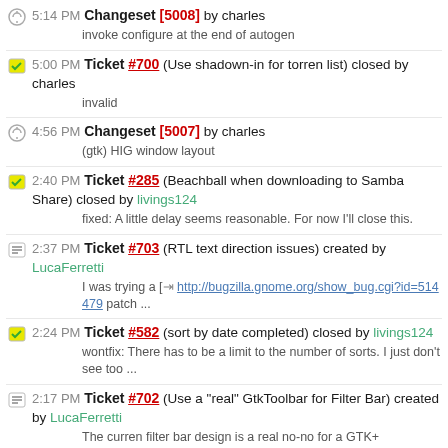5:14 PM Changeset [5008] by charles
invoke configure at the end of autogen
5:00 PM Ticket #700 (Use shadown-in for torren list) closed by charles
invalid
4:56 PM Changeset [5007] by charles
(gtk) HIG window layout
2:40 PM Ticket #285 (Beachball when downloading to Samba Share) closed by livings124
fixed: A little delay seems reasonable. For now I'll close this.
2:37 PM Ticket #703 (RTL text direction issues) created by LucaFerretti
I was trying a [=> http://bugzilla.gnome.org/show_bug.cgi?id=514479 patch ...
2:24 PM Ticket #582 (sort by date completed) closed by livings124
wontfix: There has to be a limit to the number of sorts. I just don't see too ...
2:17 PM Ticket #702 (Use a "real" GtkToolbar for Filter Bar) created by LucaFerretti
The curren filter bar design is a real no-no for a GTK+ application. ...
1:47 PM Ticket #701 (Run configure at the end of autogen.sh) created by LucaFerretti
Usually, in GTK+ apps, the autogen.sh scritp automatically invokes the ...